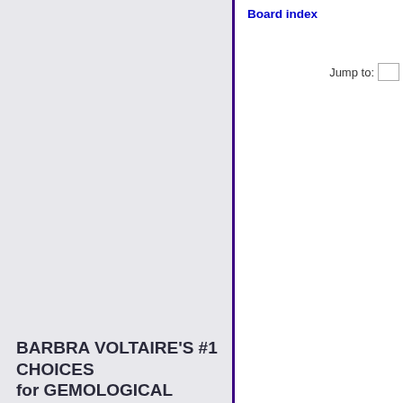Board index
Jump to:
BARBRA VOLTAIRE'S #1 CHOICES
for GEMOLOGICAL